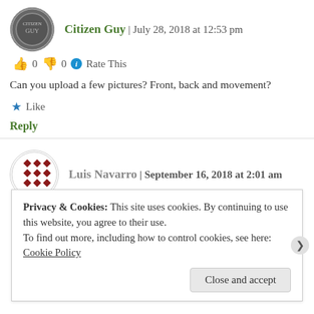Citizen Guy | July 28, 2018 at 12:53 pm
👍 0 👎 0 ℹ Rate This
Can you upload a few pictures? Front, back and movement?
★ Like
Reply
Luis Navarro | September 16, 2018 at 2:01 am
Privacy & Cookies: This site uses cookies. By continuing to use this website, you agree to their use.
To find out more, including how to control cookies, see here: Cookie Policy
Close and accept